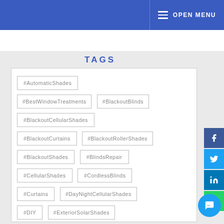OPEN MENU
TAGS
#AutomaticShades
#BestWindowTreatments
#BlackoutBlinds
#BlackoutCellularShades
#BlackoutCurtains
#BlackoutRollerShades
#BlackoutShades
#BlindsRepair
#CellularShades
#CordlessBlinds
#Curtains
#DayNightCellularShades
#DIY
#ExteriorSolarShades